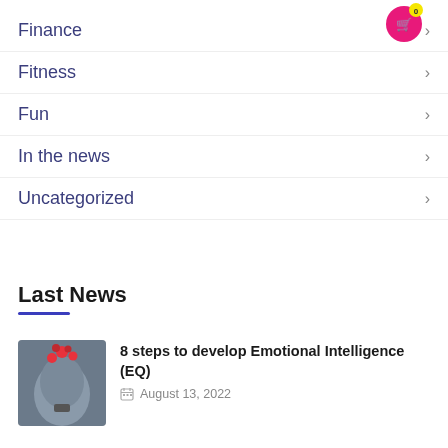[Figure (illustration): Pink circular shopping cart icon with yellow badge showing 0 in top right corner]
Finance >
Fitness >
Fun >
In the news >
Uncategorized >
Last News
[Figure (photo): Photo of a sculpted head with red hearts floating out of the top, symbolizing emotional intelligence]
8 steps to develop Emotional Intelligence (EQ)
August 13, 2022